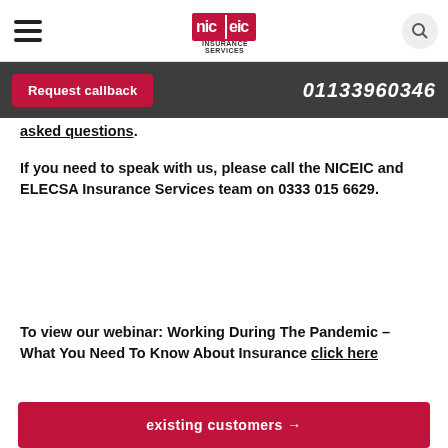[Figure (logo): NICEIC Insurance Services logo with red and dark graphical elements and text 'INSURANCE SERVICES']
Request callback   01133960346
asked questions.
If you need to speak with us, please call the NICEIC and ELECSA Insurance Services team on 0333 015 6629.
To view our webinar: Working During The Pandemic – What You Need To Know About Insurance click here
existing customers →